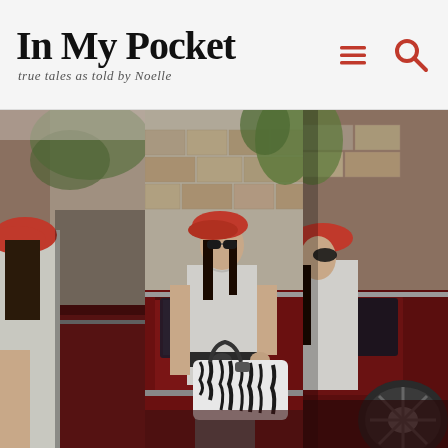In My Pocket — true tales as told by Noelle
[Figure (photo): Three-panel photo collage showing a young woman wearing a red beret and sunglasses, standing beside a dark red classic car, holding a large zebra-print handbag. The left and right panels show cropped side views, while the center panel shows the full scene with the woman in a light gray outfit.]